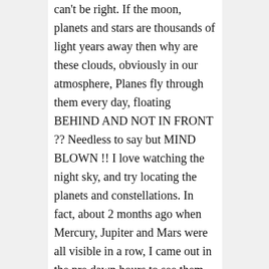can't be right. If the moon, planets and stars are thousands of light years away then why are these clouds, obviously in our atmosphere, Planes fly through them every day, floating BEHIND AND NOT IN FRONT ?? Needless to say but MIND BLOWN !! I love watching the night sky, and try locating the planets and constellations. In fact, about 2 months ago when Mercury, Jupiter and Mars were all visible in a row, I came out in the pre dawn hours to see them. As I am watching this amazing formation, suddenly I saw what looked like lightning between the two larger planets. It was a brilliant blue green flash way up there. And then I swear on this something flew out of the light and took off so fast I would have